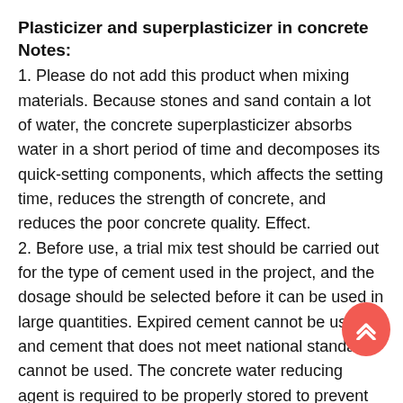Plasticizer and superplasticizer in concrete Notes:
1. Please do not add this product when mixing materials. Because stones and sand contain a lot of water, the concrete superplasticizer absorbs water in a short period of time and decomposes its quick-setting components, which affects the setting time, reduces the strength of concrete, and reduces the poor concrete quality. Effect. 2. Before use, a trial mix test should be carried out for the type of cement used in the project, and the dosage should be selected before it can be used in large quantities. Expired cement cannot be used, and cement that does not meet national standards cannot be used. The concrete water reducing agent is required to be properly stored to prevent the failure of moisture agglomeration. Strength early maintenance to ensure later strength. Strictly good water-cement ratio. For projects with water seepage and leakage, the dosage must be increased